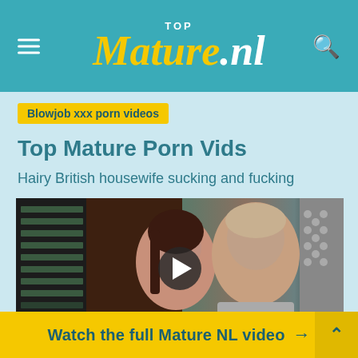TopMature.nl
Blowjob xxx porn videos
Top Mature Porn Vids
Hairy British housewife sucking and fucking
[Figure (screenshot): Video thumbnail showing a couple with a play button overlay and a cookie consent bar at the bottom reading: This site uses cookies. By continuing to browse the site you]
Watch the full Mature NL video →